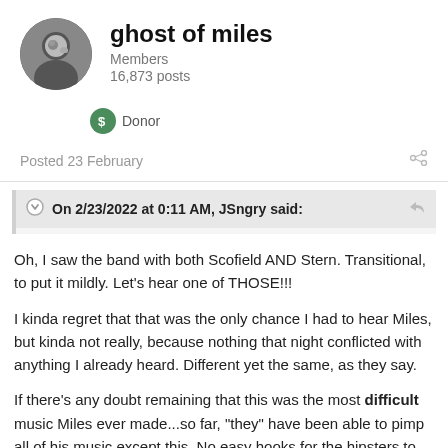[Figure (photo): Circular avatar photo of user 'ghost of miles', black and white portrait of a person]
ghost of miles
Members
16,873 posts
Donor
Posted 23 February
On 2/23/2022 at 0:11 AM, JSngry said:
Oh, I saw the band with both Scofield AND Stern. Transitional, to put it mildly. Let's hear one of THOSE!!!

I kinda regret that that was the only chance I had to hear Miles, but kinda not really, because nothing that night conflicted with anything I already heard. Different yet the same, as they say.

If there's any doubt remaining that this was the most difficult music Miles ever made...so far, "they" have been able to pimp all of his music except this. No easy hooks for the hipsters to latch on to. And yet...there it was, and there it